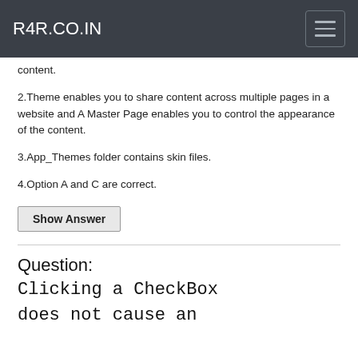R4R.CO.IN
content.
2.Theme enables you to share content across multiple pages in a website and A Master Page enables you to control the appearance of the content.
3.App_Themes folder contains skin files.
4.Option A and C are correct.
Show Answer
Question: Clicking a CheckBox does not cause an